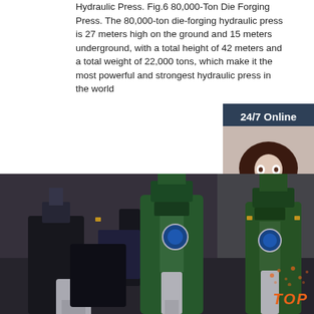Hydraulic Press. Fig.6 80,000-Ton Die Forging Press. The 80,000-ton die-forging hydraulic press is 27 meters high on the ground and 15 meters underground, with a total height of 42 meters and a total weight of 22,000 tons, which make it the most powerful and strongest hydraulic press in the world
[Figure (infographic): Orange 'Get Price' button]
[Figure (infographic): Dark teal '24/7 Online' banner with photo of female customer service agent with headset, and orange 'QUOTATION' button with 'Click here for free chat!' text]
[Figure (photo): Industrial workshop photo showing hydraulic press machinery with green metal components and cylindrical actuators]